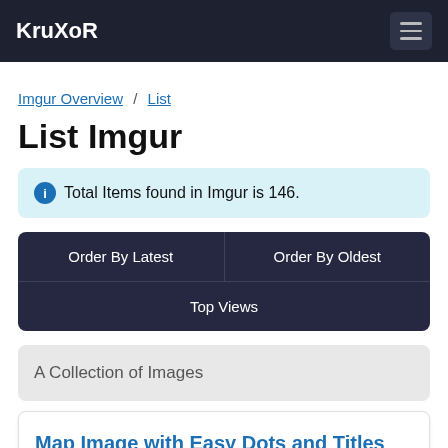KruXoR
Imgur Overview / List
List Imgur
Total Items found in Imgur is 146.
Order By Latest | Order By Oldest | Top Views
A Collection of Images
Map Image with Easy Dots and Titles using only CSS.gif